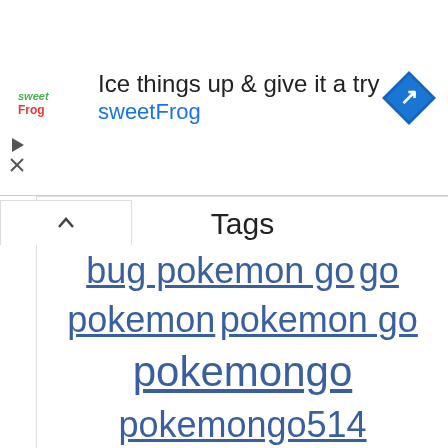[Figure (screenshot): Advertisement banner for sweetFrog frozen yogurt with logo, headline 'Ice things up & give it a try sweetFrog', and navigation arrow icon]
Tags
bug pokemon go go pokemon pokemon go pokemongo pokemongo514 pokemon go battle pokemon go battle league pokemon go egg pokemon go ep 7 pokemon go gameplay pokemon go great league pokemon go gym pokemon go ios pokemon go news pokemon go pokemons pokemon go pvp pokemon go vlog pvp shiny pokemon go shiny pokemon go virizion pokemon go trucos pokemon go